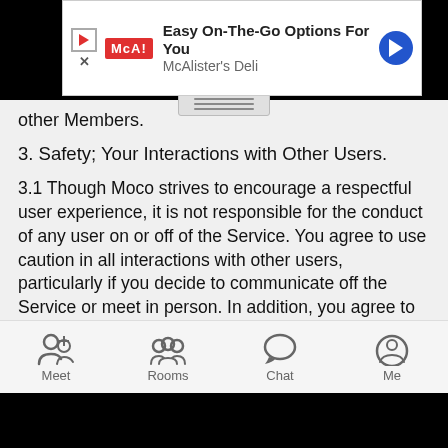[Figure (screenshot): McAlister's Deli ad banner: 'Easy On-The-Go Options For You' with logo, play button, and arrow icon]
other Members.
3. Safety; Your Interactions with Other Users.
3.1 Though Moco strives to encourage a respectful user experience, it is not responsible for the conduct of any user on or off of the Service. You agree to use caution in all interactions with other users, particularly if you decide to communicate off the Service or meet in person. In addition, you agree to review and follow Moco's Safety Tips prior to using the Service. You agree that you will not provide your financial information (for example, your credit card or bank account information), or wire or otherwise send money, to other users.
3.2 YOU ARE SOLELY RESPONSIBLE FOR YOUR INTERACTIONS WITH OTHER USERS. YOU UNDERSTAND THAT MOCO DOES NOT CONDUCT CRIMINAL BACKGROUND CHECKS ON ITS USERS OR OTHERWISE INQUIRE INTO THE
[Figure (screenshot): Bottom navigation bar with Meet, Rooms, Chat, Me icons]